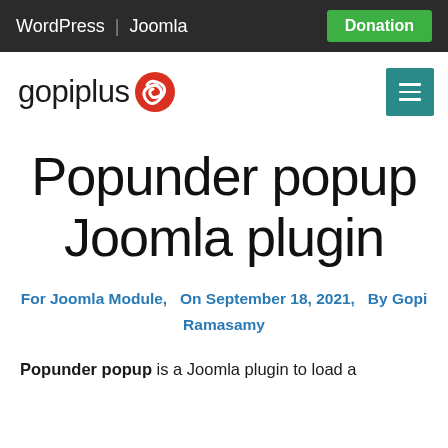WordPress | Joomla  Donation
[Figure (logo): gopiplus logo with red swoosh icon]
Popunder popup Joomla plugin
For Joomla Module,  On September 18, 2021,  By Gopi Ramasamy
Popunder popup is a Joomla plugin to load a